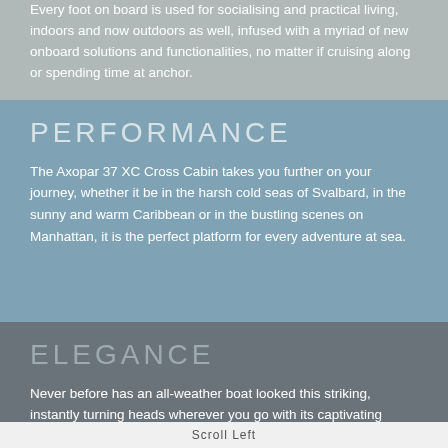Every foot on board is used for socialising and practical living, indoors and now outdoors as well, infused with a myriad of new onboard solutions and functionalities, no matter if cruising along or spending time at anchor.
PERFORMANCE
The Axopar 37 XC Cross Cabin takes you further on your journey, whether it be in the harsh cold seas of Svalbard, in the sunny and warm Caribbean or in the bustling scenes on Manhattan, it is the perfect platform for every adventure at sea.
ELEGANCE
Never before has an all-weather boat looked this striking, instantly turning heads wherever you go with its captivating modern looks, challenging the perception of traditionally 'boring' enclosed cabin 'work' boats.
Scroll Left